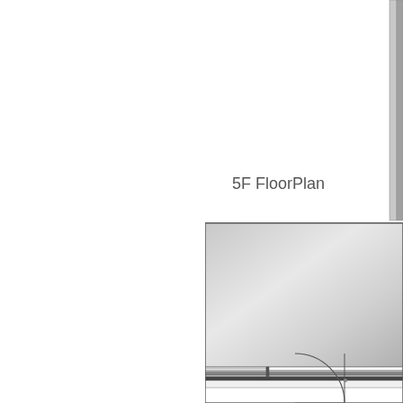5F FloorPlan
[Figure (schematic): Partial architectural floor plan showing the 5th floor layout. The right portion of the page shows a large room with a gradient-shaded rectangular area representing a floor or ceiling surface, with horizontal lines at the bottom indicating a door threshold or step detail, and a partial circular element (door swing) visible at the bottom right. A thin vertical element (wall or column) is visible at the top right edge.]